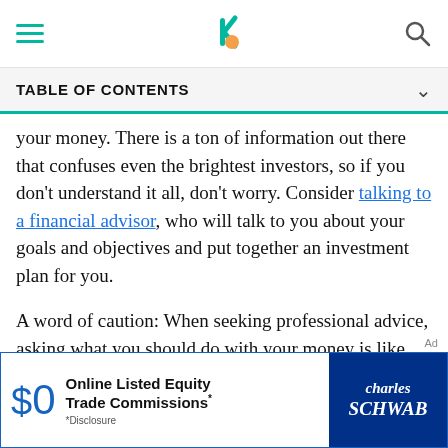[Navigation bar with hamburger menu, Bankrate logo, and search icon]
TABLE OF CONTENTS
your money. There is a ton of information out there that confuses even the brightest investors, so if you don't understand it all, don't worry. Consider talking to a financial advisor, who will talk to you about your goals and objectives and put together an investment plan for you.
A word of caution: When seeking professional advice, asking what you should do with your money is like walking into a pharmacy and asking what kind of medicine to buy. If you don't ask what kind you should get to deal with a specific symptom, you might get
[Figure (other): Charles Schwab advertisement banner: $0 Online Listed Equity Trade Commissions*. *Disclosure. Charles Schwab logo.]